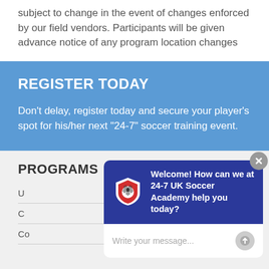subject to change in the event of changes enforced by our field vendors. Participants will be given advance notice of any program location changes
REGISTER TODAY
Don't delay, register today and secure your player's spot for his/her next "24-7" soccer training event.
PROGRAMS
U...
C...
Co...
[Figure (screenshot): Chat widget overlay with 24-7 UK Soccer Academy branding. Blue header with logo showing a soccer ball in a shield, text 'Welcome! How can we at 24-7 UK Soccer Academy help you today?', and a white input area with placeholder 'Write your message...' and a send button. A grey close (X) button in the top right corner.]